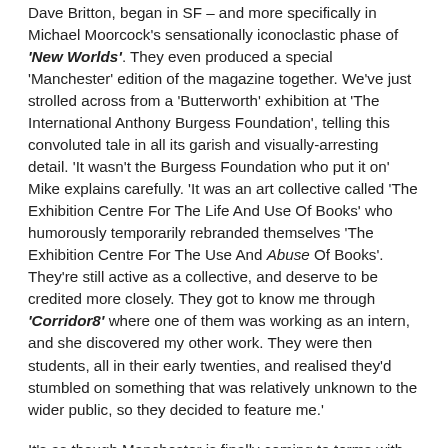Dave Britton, began in SF – and more specifically in Michael Moorcock's sensationally iconoclastic phase of 'New Worlds'. They even produced a special 'Manchester' edition of the magazine together. We've just strolled across from a 'Butterworth' exhibition at 'The International Anthony Burgess Foundation', telling this convoluted tale in all its garish and visually-arresting detail. 'It wasn't the Burgess Foundation who put it on' Mike explains carefully. 'It was an art collective called 'The Exhibition Centre For The Life And Use Of Books' who humorously temporarily rebranded themselves 'The Exhibition Centre For The Use And Abuse Of Books'. They're still active as a collective, and deserve to be credited more closely. They got to know me through 'Corridor8' where one of them was working as an intern, and she discovered my other work. They were then students, all in their early twenties, and realised they'd stumbled on something that was relatively unknown to the wider public, so they decided to feature me.'
It's as though Manchester is finally coming to terms with its outlaw literary heritage, grudgingly acknowledging Savoy's unique contribution to the city's vibrant culture. The exhibition is...